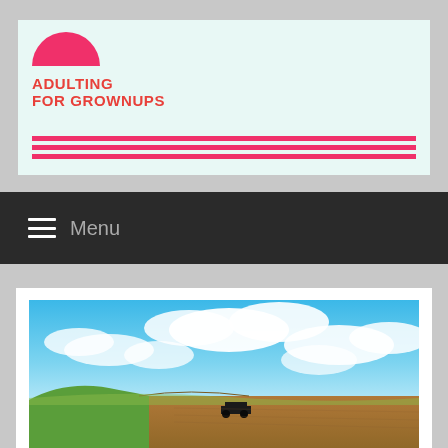[Figure (logo): Adulting For Grownups logo with pink semicircle sun and brand name in red-orange bold text, with pink horizontal stripes below]
≡ Menu
[Figure (photo): Landscape photo showing rolling hills with green grass on left, brown plowed farmland, a farm vehicle/tractor in the middle distance, and dramatic blue sky with white clouds above]